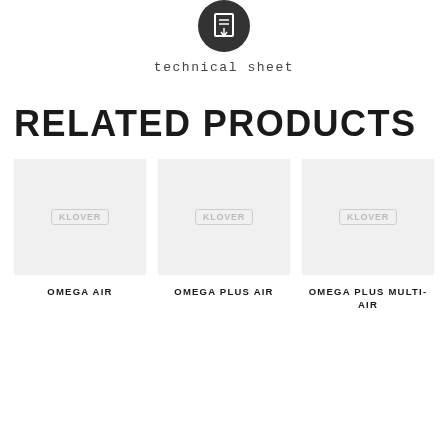[Figure (logo): Dark circular icon with a document/sheet symbol and a downward arrow, representing a technical sheet download]
technical sheet
RELATED PRODUCTS
[Figure (photo): OMEGA AIR product placeholder image with KLOVER watermark on light grey background]
[Figure (photo): OMEGA PLUS AIR product placeholder image with KLOVER watermark on light grey background]
[Figure (photo): OMEGA PLUS MULTI-AIR product placeholder image with KLOVER watermark on light grey background]
OMEGA AIR
OMEGA PLUS AIR
OMEGA PLUS MULTI-AIR